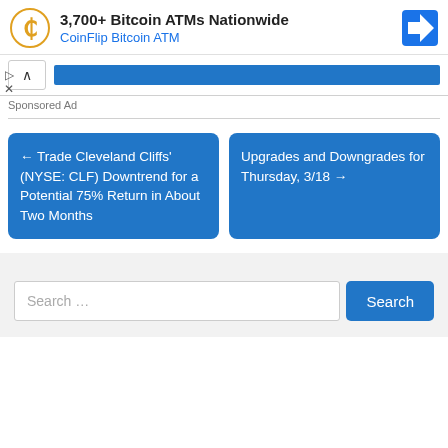[Figure (screenshot): CoinFlip Bitcoin ATM advertisement banner with logo, title '3,700+ Bitcoin ATMs Nationwide', subtitle 'CoinFlip Bitcoin ATM', and navigation arrow icon]
Sponsored Ad
← Trade Cleveland Cliffs' (NYSE: CLF) Downtrend for a Potential 75% Return in About Two Months
Upgrades and Downgrades for Thursday, 3/18 →
Search …